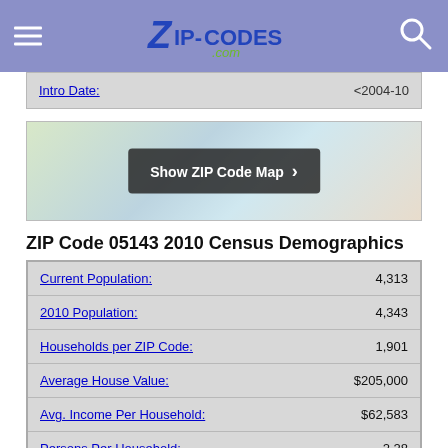ZIP-CODES.com
| Field | Value |
| --- | --- |
| Intro Date: | <2004-10 |
[Figure (map): ZIP code map preview with 'Show ZIP Code Map' overlay button]
ZIP Code 05143 2010 Census Demographics
| Field | Value |
| --- | --- |
| Current Population: | 4,313 |
| 2010 Population: | 4,343 |
| Households per ZIP Code: | 1,901 |
| Average House Value: | $205,000 |
| Avg. Income Per Household: | $62,583 |
| Persons Per Household: | 2.28 |